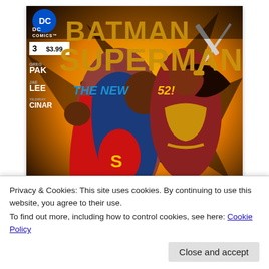[Figure (illustration): Comic book cover of Batman/Superman #3 (The New 52!), DC Comics. Features Superman in red cape and Wonder Woman wielding a sword against an orange/yellow explosive background. Credits: Greg Pak, Jae Lee, Yildiray Cinar. Price $3.99.]
Privacy & Cookies: This site uses cookies. By continuing to use this website, you agree to their use.
To find out more, including how to control cookies, see here: Cookie Policy